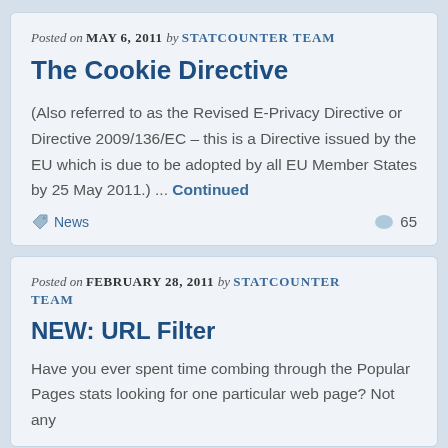Posted on MAY 6, 2011 by STATCOUNTER TEAM
The Cookie Directive
(Also referred to as the Revised E-Privacy Directive or Directive 2009/136/EC – this is a Directive issued by the EU which is due to be adopted by all EU Member States by 25 May 2011.) ... Continued
News   65
Posted on FEBRUARY 28, 2011 by STATCOUNTER TEAM
NEW: URL Filter
Have you ever spent time combing through the Popular Pages stats looking for one particular web page? Not any